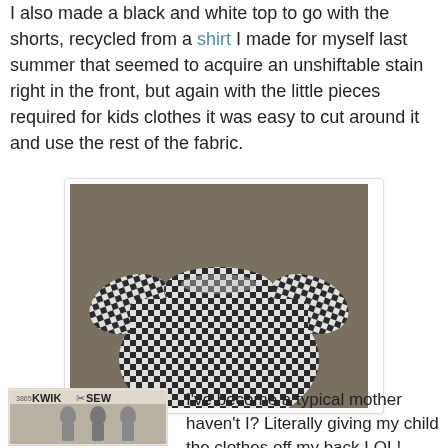I also made a black and white top to go with the shorts, recycled from a shirt I made for myself last summer that seemed to acquire an unshiftable stain right in the front, but again with the little pieces required for kids clothes it was easy to cut around it and use the rest of the fabric.
[Figure (photo): A black and white gingham check children's top laid flat on a grey/brown surface, with gathered neckline and short sleeves.]
[Figure (photo): A Kwik Sew pattern book cover showing pattern number 3865 with KWIK SEW branding and a scissors logo.]
I've become a typical mother haven't I? Literally giving my child the clothes off my back LOL!